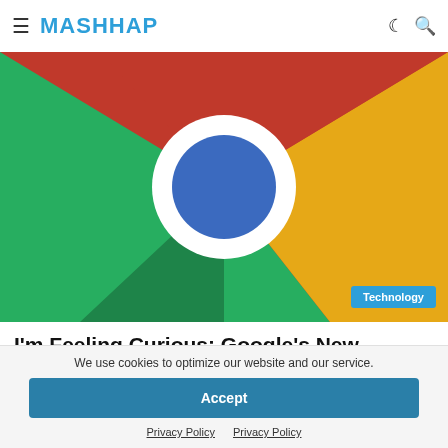≡ MASHHAP [moon icon] [search icon]
[Figure (illustration): Close-up of Google Chrome logo showing green, red, yellow and blue segments with white ring and blue circle center. Technology badge overlay bottom right.]
I'm Feeling Curious: Google's New Search
We use cookies to optimize our website and our service.
Accept
Privacy Policy  Privacy Policy